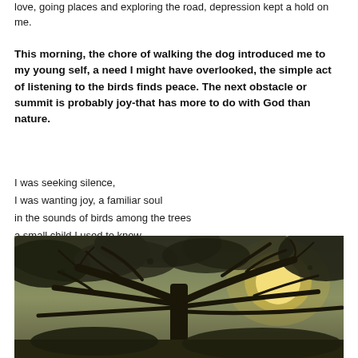love, going places and exploring the road, depression kept a hold on me.
This morning, the chore of walking the dog introduced me to my young self, a need I might have overlooked, the simple act of listening to the birds finds peace. The next obstacle or summit is probably joy-that has more to do with God than nature.
I was seeking silence,
I was wanting joy, a familiar soul
in the sounds of birds among the trees
a small child I used to know
[Figure (photo): Photograph of large tree branches silhouetted against a bright sky with sunlight visible through the canopy]